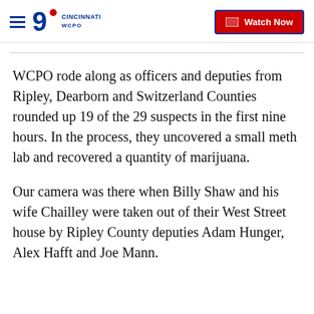WCPO CINCINNATI | Watch Now
WCPO rode along as officers and deputies from Ripley, Dearborn and Switzerland Counties rounded up 19 of the 29 suspects in the first nine hours. In the process, they uncovered a small meth lab and recovered a quantity of marijuana.
Our camera was there when Billy Shaw and his wife Chailley were taken out of their West Street house by Ripley County deputies Adam Hunger, Alex Hafft and Joe Mann.